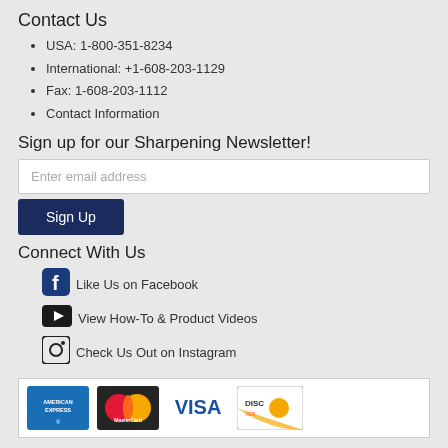Contact Us
USA: 1-800-351-8234
International: +1-608-203-1129
Fax: 1-608-203-1112
Contact Information
Sign up for our Sharpening Newsletter!
Enter email address
Sign Up
Connect With Us
Like Us on Facebook
View How-To & Product Videos
Check Us Out on Instagram
[Figure (logo): Payment method logos: American Express, MasterCard, Visa, Discover]